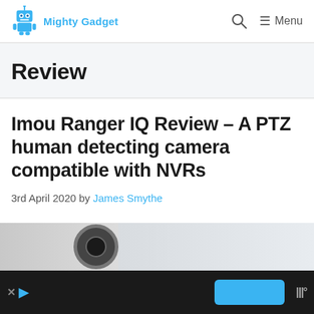Mighty Gadget | Menu
Review
Imou Ranger IQ Review – A PTZ human detecting camera compatible with NVRs
3rd April 2020 by James Smythe
[Figure (photo): Partial view of a camera product image at the bottom of the page, showing a dark circular camera lens against a light grey background]
Advertisement bar with X and arrow icons, a blue button, and wifi/signal icon